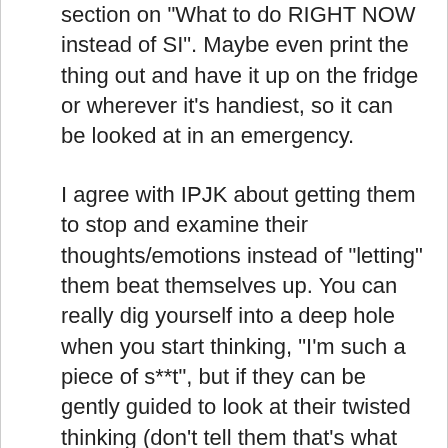section on "What to do RIGHT NOW instead of SI". Maybe even print the thing out and have it up on the fridge or wherever it's handiest, so it can be looked at in an emergency.
I agree with IPJK about getting them to stop and examine their thoughts/emotions instead of "letting" them beat themselves up. You can really dig yourself into a deep hole when you start thinking, "I'm such a piece of s**t", but if they can be gently guided to look at their twisted thinking (don't tell them that's what they're doing, tho!), it's easier to control the